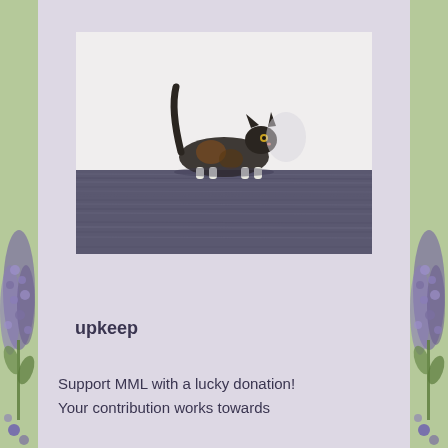[Figure (photo): A cat (dark/tortoiseshell coloring with white paws) walking on top of a dark grey wooden dresser or cabinet against a white wall background. The cat's tail is raised upward. The furniture has horizontal plank texture.]
upkeep
Support MML with a lucky donation!
Your contribution works towards